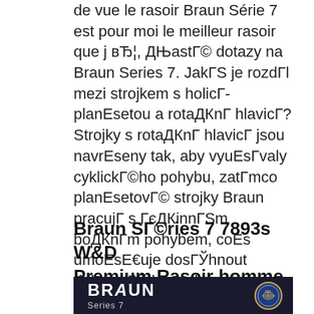de vue le rasoir Braun Série 7 est pour moi le meilleur rasoir que j вЂ¦, ДЊastГ© dotazy na Braun Series 7. JakГS je rozdГl mezi strojkem s holicГ­planEsetou a rotaДКnГ hlavicГ? Strojky s rotaДКnГ hlavicГ jsou navrEseny tak, aby vyuEsГvaly cyklickГ©ho pohybu, zatГmco planEsetovГ© strojky Braun pracujГ s ГєДКinnГSm boДКnГm pohybem, coEs umoEsE€uje dosГЎhnout dokonalГ© kontroly a pЕ™esnosti..
Braun SГ©ries 7 7893s W&D Premium Rasoir homme
[Figure (photo): Dark navy/black product box for Braun Series 7 razor with white Braun logo and NFL badge on the right side]